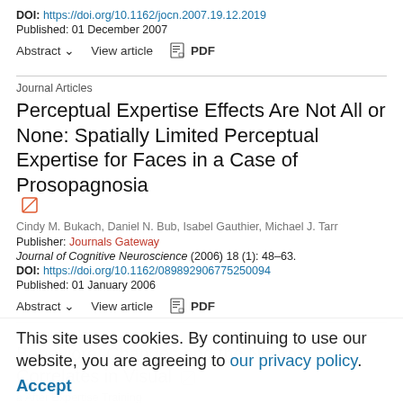DOI: https://doi.org/10.1162/jocn.2007.19.12.2019
Published: 01 December 2007
Abstract ∨   View article   PDF
Journal Articles
Perceptual Expertise Effects Are Not All or None: Spatially Limited Perceptual Expertise for Faces in a Case of Prosopagnosia
Cindy M. Bukach, Daniel N. Bub, Isabel Gauthier, Michael J. Tarr
Publisher: Journals Gateway
Journal of Cognitive Neuroscience (2006) 18 (1): 48–63.
DOI: https://doi.org/10.1162/089892906775250094
Published: 01 January 2006
Abstract ∨   View article   PDF
Journal Articles
Behavioral Changes and the Neural Correlates in Visual
This site uses cookies. By continuing to use our website, you are agreeing to our privacy policy.
Accept
a After Expertise Training